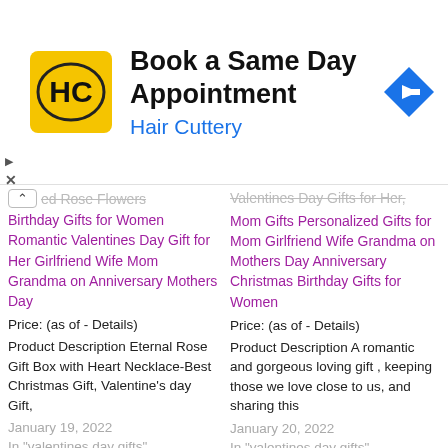[Figure (other): Hair Cuttery advertisement banner: 'Book a Same Day Appointment' with HC logo and blue navigation arrow icon]
ed Rose Flowers
Birthday Gifts for Women Romantic Valentines Day Gift for Her Girlfriend Wife Mom Grandma on Anniversary Mothers Day
Valentines Day Gifts for Her, Mom Gifts Personalized Gifts for Mom Girlfriend Wife Grandma on Mothers Day Anniversary Christmas Birthday Gifts for Women
Price: (as of - Details)
Product Description Eternal Rose Gift Box with Heart Necklace-Best Christmas Gift, Valentine's day Gift,
Price: (as of - Details)
Product Description A romantic and gorgeous loving gift , keeping those we love close to us, and sharing this
January 19, 2022
In "valentines day gifts"
January 20, 2022
In "valentines day gifts"
Valentines Day Gifts for Her Preserved Real Rose with Heart Love You 925 Sterling Silver Necklace in 100 Luxury Birthday Gifts f…